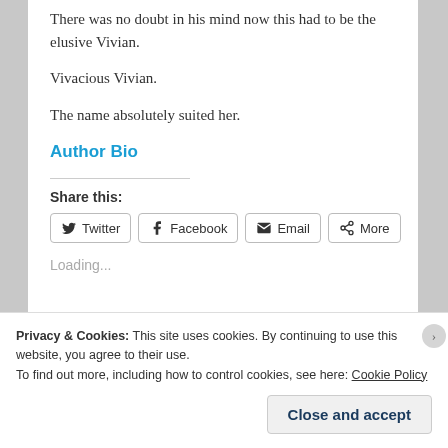There was no doubt in his mind now this had to be the elusive Vivian.
Vivacious Vivian.
The name absolutely suited her.
Author Bio
Share this:
Loading...
Privacy & Cookies: This site uses cookies. By continuing to use this website, you agree to their use. To find out more, including how to control cookies, see here: Cookie Policy
Close and accept